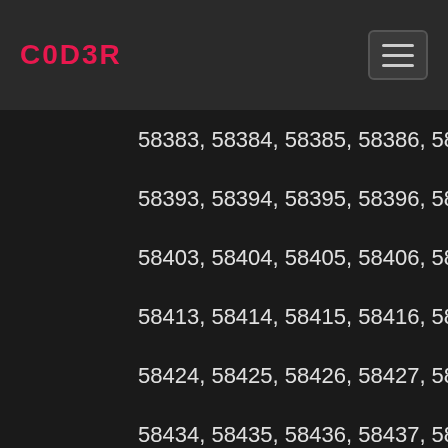C0D3R
58383, 58384, 58385, 58386, 58387, 58388, 58393, 58394, 58395, 58396, 58397, 58398, 58403, 58404, 58405, 58406, 58407, 58408, 58413, 58414, 58415, 58416, 58417, 58418, 58419, 58424, 58425, 58426, 58427, 58428, 58429, 58434, 58435, 58436, 58437, 58438, 58439, 58444, 58445, 58446, 58447, 58448, 58449, 58454, 58455, 58456, 58457, 58458, 58459, 58464, 58465, 58466, 58467, 58468, 58469, 58474, 58475, 58476, 58477, 58478, 58479, 58484, 58485, 58486, 58487, 58488, 58489, 58494, 58495, 58496, 58497, 58498, 58499, 58504, 58505, 58506, 58507, 58508, 58509, 58514, 58515, 58516, 58517, 58518, 58519, 58520, 58525, 58526, 58527, 58528, 58529, 58530, 58535, 58536, 58537, 58538, 58539, 58540